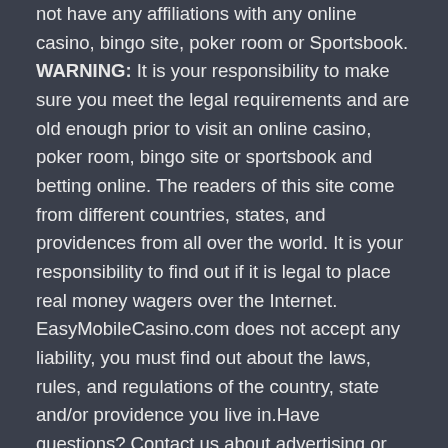not have any affiliations with any online casino, bingo site, poker room or Sportsbook. WARNING: It is your responsibility to make sure you meet the legal requirements and are old enough prior to visit an online casino, poker room, bingo site or sportsbook and betting online. The readers of this site come from different countries, states, and providences from all over the world. It is your responsibility to find out if it is legal to place real money wagers over the Internet. EasyMobileCasino.com does not accept any liability, you must find out about the laws, rules, and regulations of the country, state and/or providence you live in.Have questions? Contact us about advertising or anything else. Send your email to every1bets at protonmail dot com.